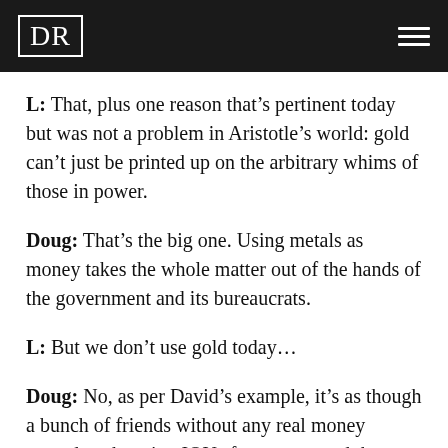DR
L: That, plus one reason that's pertinent today but was not a problem in Aristotle's world: gold can't just be printed up on the arbitrary whims of those in power.
Doug: That's the big one. Using metals as money takes the whole matter out of the hands of the government and its bureaucrats.
L: But we don't use gold today...
Doug: No, as per David's example, it's as though a bunch of friends without any real money started exchanging IOUs for money, and then after a while forgot that the IOUs were supposed to represent, and